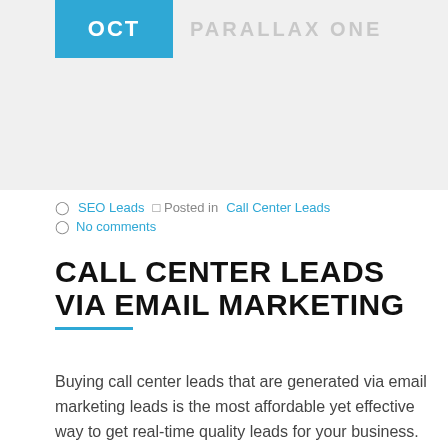[Figure (other): Header image area with light grey background. Blue badge in upper left showing 'OCT'. Grey text 'PARALLAX ONE' to the right of the badge.]
SEO Leads  Posted in  Call Center Leads
No comments
CALL CENTER LEADS VIA EMAIL MARKETING
Buying call center leads that are generated via email marketing leads is the most affordable yet effective way to get real-time quality leads for your business. When you buy leads these types of call center leads, you are getting qualified, interested individuals who are looking for exactly the type of product or service you